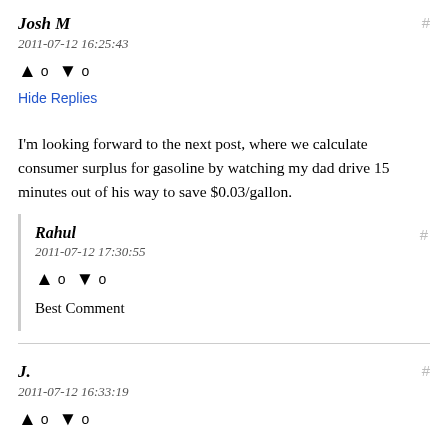Josh M
2011-07-12 16:25:43
↑ 0 ↓ 0
Hide Replies
I'm looking forward to the next post, where we calculate consumer surplus for gasoline by watching my dad drive 15 minutes out of his way to save $0.03/gallon.
Rahul
2011-07-12 17:30:55
↑ 0 ↓ 0
Best Comment
J.
2011-07-12 16:33:19
↑ 0 ↓ 0